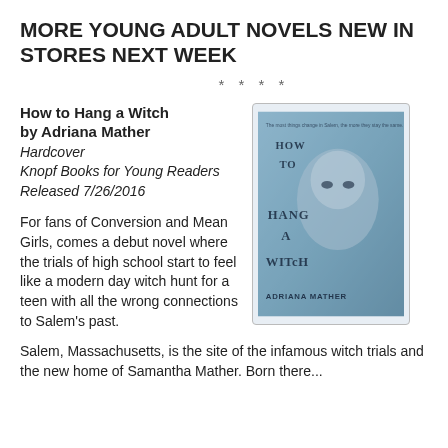MORE YOUNG ADULT NOVELS NEW IN STORES NEXT WEEK
* * * *
How to Hang a Witch
by Adriana Mather
Hardcover
Knopf Books for Young Readers
Released 7/26/2016
[Figure (photo): Book cover of 'How to Hang a Witch' by Adriana Mather showing a teen face through frosted glass with the title written in dark letters]
For fans of Conversion and Mean Girls, comes a debut novel where the trials of high school start to feel like a modern day witch hunt for a teen with all the wrong connections to Salem's past.
Salem, Massachusetts, is the site of the infamous witch trials and the new home of Samantha Mather. Born there...